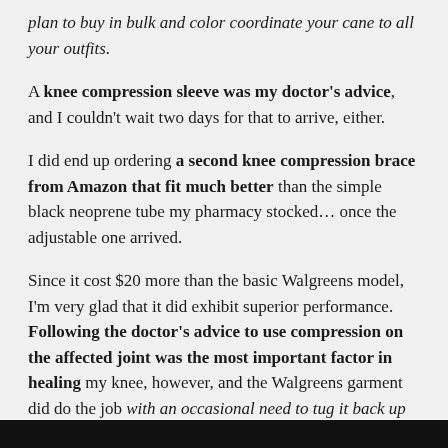plan to buy in bulk and color coordinate your cane to all your outfits.
A knee compression sleeve was my doctor's advice, and I couldn't wait two days for that to arrive, either.
I did end up ordering a second knee compression brace from Amazon that fit much better than the simple black neoprene tube my pharmacy stocked… once the adjustable one arrived.
Since it cost $20 more than the basic Walgreens model, I'm very glad that it did exhibit superior performance. Following the doctor's advice to use compression on the affected joint was the most important factor in healing my knee, however, and the Walgreens garment did do the job with an occasional need to tug it back up sooner than the mail order one ever could.
[Figure (screenshot): Dark footer bar at bottom of page]